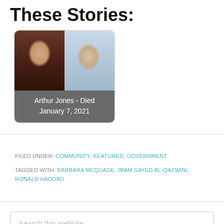These Stories:
[Figure (photo): Card with two photos side by side of Arthur Jones (young and old) with caption 'Arthur Jones - Died January 7, 2021']
FILED UNDER: COMMUNITY, FEATURED, GOVERNMENT
TAGGED WITH: BARBARA MCQUADE, IMAM SAYED AL-QAZWINI, RONALD HADDAD
Search this website